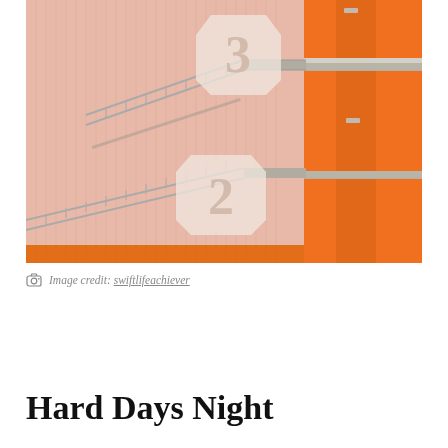[Figure (photo): Modern building exterior with pink/salmon corrugated metal cladding and bright orange accent panels. External staircases with metal railings traverse the facade. Pale hexagonal number signs show '3' and '2' indicating floor levels.]
Image credit: swiftlifeachiever
Hard Days Night